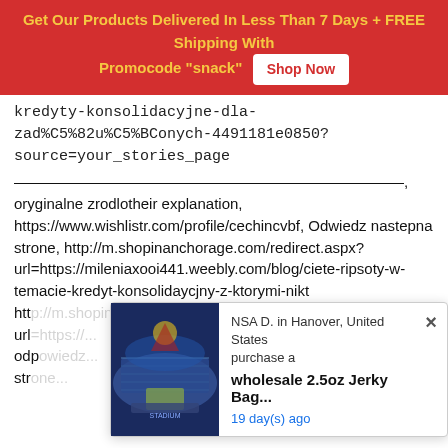Get Our Products Delivered In Less Than 7 Days + FREE Shipping With Promocode "snack"  Shop Now
kredyty-konsolidacyjne-dla-zad%C5%82u%C5%BConych-4491181e0850?source=your_stories_page
——————————————————————————, oryginalne zrodlotheir explanation, https://www.wishlistr.com/profile/cechincvbf, Odwiedz nastepna strone, http://m.shopinanchorage.com/redirect.aspx?url=https://mileniaxooi441.weebly.com/blog/ciete-ripsoty-w-temacie-kredyt-konsolidaycjny-z-ktorymi-nik
[Figure (screenshot): Popup notification showing NSA D. in Hanover, United States purchase a wholesale 2.5oz Jerky Bag... 19 day(s) ago, with a sports stadium image on the left]
http://www.serbiancafe.com/lat/diskusije/new/redirect.ph